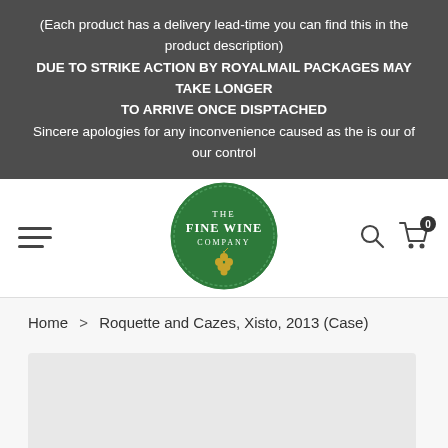(Each product has a delivery lead-time you can find this in the product description)
DUE TO STRIKE ACTION BY ROYALMAIL PACKAGES MAY TAKE LONGER
TO ARRIVE ONCE DISPTACHED
Sincere apologies for any inconvenience caused as the is our of our control
[Figure (logo): The Fine Wine Company circular green logo with gold grape bunch]
Home > Roquette and Cazes, Xisto, 2013 (Case)
[Figure (photo): Product image placeholder area, light grey background]